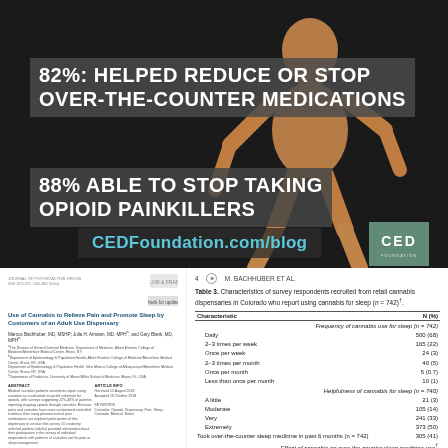[Figure (photo): Wooden articulated mannequin figure on dark background used as decorative image for cannabis pain relief infographic]
82%: HELPED REDUCE OR STOP OVER-THE-COUNTER MEDICATIONS
88% ABLE TO STOP TAKING OPIOID PAINKILLERS
CEDFoundation.com/blog
[Figure (logo): CED Foundation logo in teal/green square]
Use of Cannabis to Relieve Pain and Promote Sleep by Customers of an Adult Use Dispensary
Marcus Bachhuber, MD; Julia H. Arnsten, MD, MPH; and Gary Blank, MD, MPH
Abstract and citation text for the paper
4   M. BACHHUBER ET AL.
Table 3. Characteristics of survey respondents recruited from retail cannabis dispensaries in Colorado who report using cannabis for sleep (n = 742)†.
| Characteristic | N (%) |
| --- | --- |
| Frequency of cannabis use for sleep (n = 742) |  |
| Daily | 500 (68) |
| 2–3 times per week | 165 (22) |
| Once per week | 24 (3) |
| 2–3 times per month | 40 (5) |
| Once per month | 5 (0.7) |
| Less than once per month | 10 (1) |
| Helpfulness of cannabis for sleep (n = 740) |  |
| A little | 21 (3) |
| Moderate | 105 (14) |
| Very | 241 (33) |
| Extremely | 373 (50) |
| Took over-the-counter sleep medicine in past 6 months (n = 742) | 305 (41) |
| Effect of cannabis on over-the-counter sleep medicine use† |  |
| No change | 35 (12) |
| Increase | 3 (0.6) |